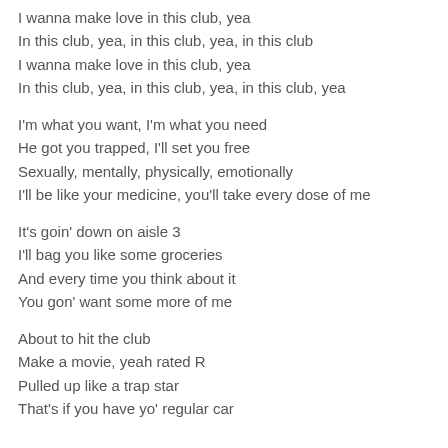I wanna make love in this club, yea
In this club, yea, in this club, yea, in this club
I wanna make love in this club, yea
In this club, yea, in this club, yea, in this club, yea
I'm what you want, I'm what you need
He got you trapped, I'll set you free
Sexually, mentally, physically, emotionally
I'll be like your medicine, you'll take every dose of me
It's goin' down on aisle 3
I'll bag you like some groceries
And every time you think about it
You gon' want some more of me
About to hit the club
Make a movie, yeah rated R
Pulled up like a trap star
That's if you have yo' regular car